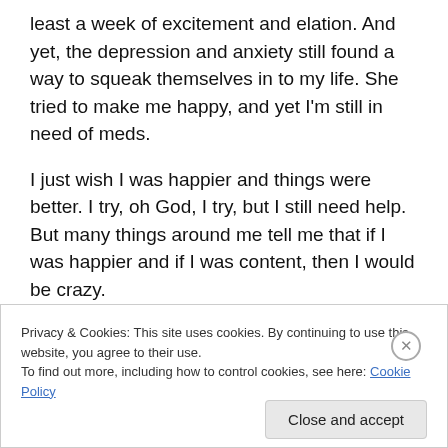least a week of excitement and elation. And yet, the depression and anxiety still found a way to squeak themselves in to my life. She tried to make me happy, and yet I'm still in need of meds.
I just wish I was happier and things were better. I try, oh God, I try, but I still need help. But many things around me tell me that if I was happier and if I was content, then I would be crazy.
I guess the weather isn't helping as well. I wish it would stop raining.
Privacy & Cookies: This site uses cookies. By continuing to use this website, you agree to their use.
To find out more, including how to control cookies, see here: Cookie Policy
Close and accept